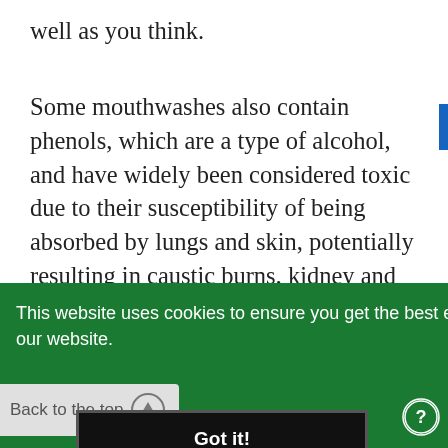well as you think.
Some mouthwashes also contain phenols, which are a type of alcohol, and have widely been considered toxic due to their susceptibility of being absorbed by lungs and skin, potentially resulting in caustic burns, kidney and liver damage and hyperactivity.
This website uses cookies to ensure you get the best experience on our website.
Learn More
Back to the top
Got it!
sensations in teeth, gums and cheeks, a